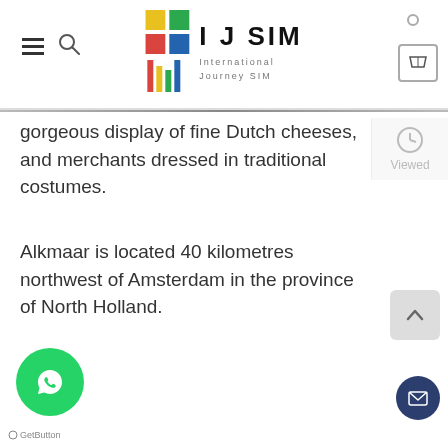IJ SIM — International Journey SIM
gorgeous display of fine Dutch cheeses, and merchants dressed in traditional costumes.
Alkmaar is located 40 kilometres northwest of Amsterdam in the province of North Holland.